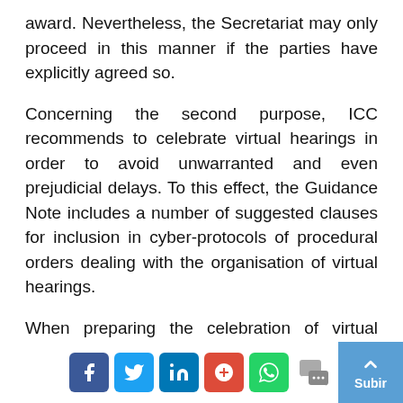award. Nevertheless, the Secretariat may only proceed in this manner if the parties have explicitly agreed so.
Concerning the second purpose, ICC recommends to celebrate virtual hearings in order to avoid unwarranted and even prejudicial delays. To this effect, the Guidance Note includes a number of suggested clauses for inclusion in cyber-protocols of procedural orders dealing with the organisation of virtual hearings.
When preparing the celebration of virtual hearings, ICC points out that several elements should be taken into consideration, among others: (i) granting privacy of the hearing; (ii) considering different time zones when fixing the hearing dates; (iii) establishing procedures
[Figure (other): Social media sharing icons (Facebook, Twitter, LinkedIn, Google+, WhatsApp, Message) and a 'Subir' (scroll to top) button]